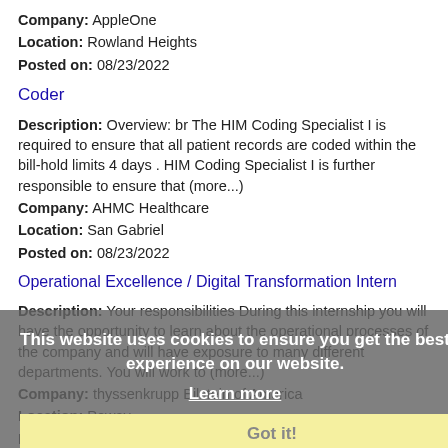Company: AppleOne
Location: Rowland Heights
Posted on: 08/23/2022
Coder
Description: Overview: br The HIM Coding Specialist I is required to ensure that all patient records are coded within the bill-hold limits 4 days . HIM Coding Specialist I is further responsible to ensure that (more...)
Company: AHMC Healthcare
Location: San Gabriel
Posted on: 08/23/2022
Operational Excellence / Digital Transformation Intern
Description: Your responsibilities During this internship you will have the opportunity to learn about the operational processes of the company and will have exposure to many different departments. You will work to (more...)
Company: thyssenkrupp Bilstein of America
Location: Poway
Posted on: 08/23/2022
Director, Business Intelligence
Description: Director, Business Intelligence Support Center